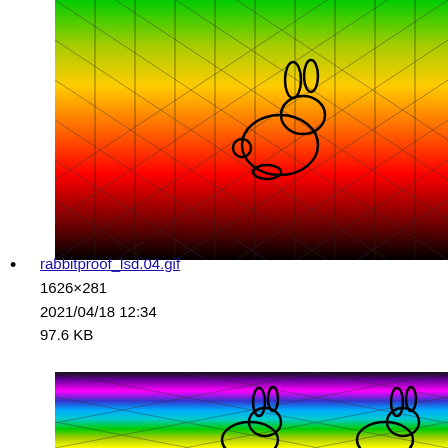[Figure (illustration): Colorful rainbow-banded image with chain-link fence pattern overlay and rabbit/bunny outline in the center-right, bands going from black at bottom through red, orange, yellow, green at top. Top image crop.]
rabbitproof_lsd.04.gif
1626×281
2021/04/18 12:34
97.6 KB
[Figure (illustration): Colorful rainbow-banded image with chain-link fence pattern overlay and two rabbit/bunny outlines at bottom center-right, bands going from black at top through magenta/pink, blue, cyan, green, yellow, with bunnies visible at bottom. Bottom image crop.]